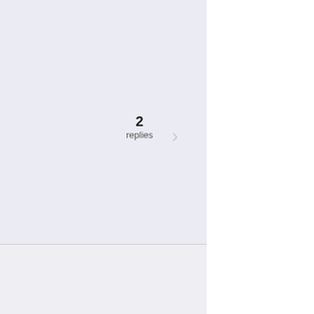withdrawalamalgamae emmahardY92
2 replies
Diatomส